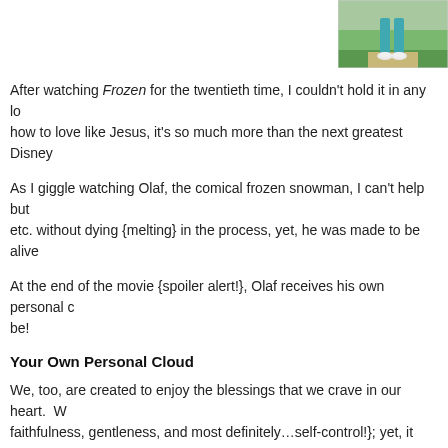[Figure (photo): Partial photo showing person's legs/feet in teal pants and white shoes on a path with green grass background, cropped at top-right corner of page]
After watching Frozen for the twentieth time, I couldn't hold it in any longer. When we learn how to love like Jesus, it's so much more than the next greatest Disney
As I giggle watching Olaf, the comical frozen snowman, I can't help but etc. without dying {melting} in the process, yet, he was made to be alive
At the end of the movie {spoiler alert!}, Olaf receives his own personal be!
Your Own Personal Cloud
We, too, are created to enjoy the blessings that we crave in our heart. W faithfulness, gentleness, and most definitely…self-control!}; yet, it seem
Rest assured my dear friends! While we may never have the perfection gloom of our own emotions. Sadness, depression, worry, anger, fear, kingdom of God and be overshadowed by the Most High! When He ov time I checked, there's no gloom in heaven! When we do so, God gets shoulders!